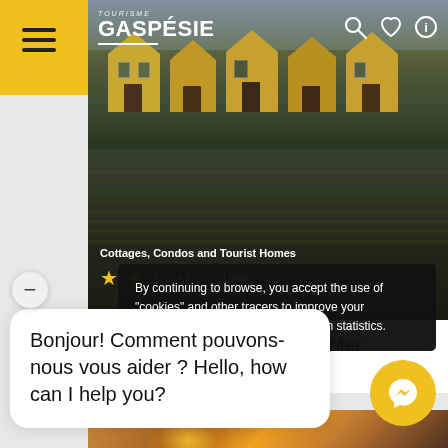[Figure (screenshot): Tourisme Gaspesie tourism app screenshot showing a listing for Les Chalets des Blés de Mer in Bonaventure, with a hero image of cottages reflected in water, star rating and rates, and overlaying cookie consent and chat widgets.]
TOURISME GASPESIE
Cottages, Condos and Tourist Homes
★ ★  |  RATES : 100$
Les Chalets des Blés de Mer
Bonaventure
By continuing to browse, you accept the use of "cookies" and other tracers to improve your experience and to perform navigation statistics.
Bonjour! Comment pouvons-nous vous aider ? Hello, how can I help you?